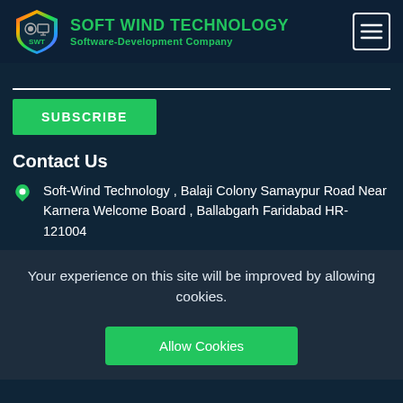[Figure (logo): Soft Wind Technology logo: shield shape with SWT text and gears, multicolor rainbow border]
SOFT WIND TECHNOLOGY
Software-Development Company
[Figure (other): Hamburger menu icon (three horizontal lines) in a white-bordered square]
SUBSCRIBE
Contact Us
Soft-Wind Technology , Balaji Colony Samaypur Road Near Karnera Welcome Board , Ballabgarh Faridabad HR-121004
Your experience on this site will be improved by allowing cookies.
Allow Cookies